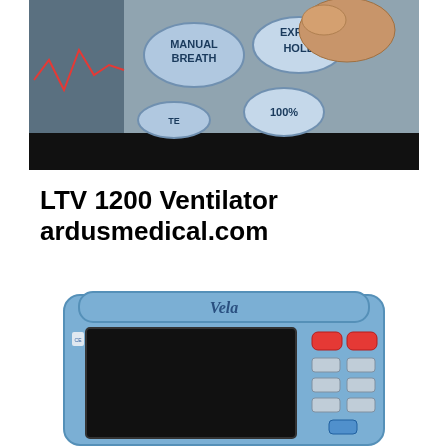[Figure (photo): Close-up photo of a medical ventilator control panel showing buttons labeled MANUAL BREATH, EXP HOLD, and 100%, with a hand pressing the EXP HOLD button. The panel is blue with a black bar at the bottom.]
LTV 1200 Ventilator ardusmedical.com
[Figure (photo): Front view photo of a Vela ventilator device. It is a blue medical device with a large black screen display on the left, red and gray control buttons on the right side, and the Vela logo at the top center.]